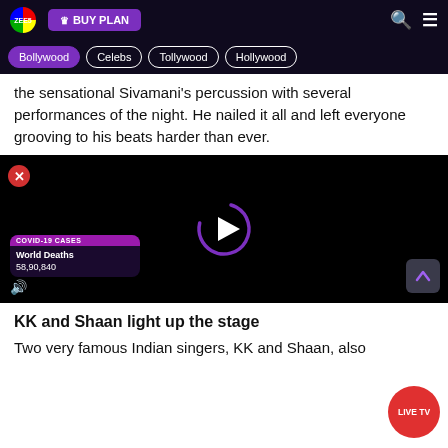ZEE5 | BUY PLAN | Bollywood | Celebs | Tollywood | Hollywood
the sensational Sivamani's percussion with several performances of the night. He nailed it all and left everyone grooving to his beats harder than ever.
[Figure (screenshot): Black video player with purple circular loading arc and white play triangle button. Overlay shows COVID-19 CASES widget with World Deaths 58,90,840. Close (X) button top-left. Speaker icon bottom-left. Scroll-up arrow button bottom-right.]
KK and Shaan light up the stage
Two very famous Indian singers, KK and Shaan, also